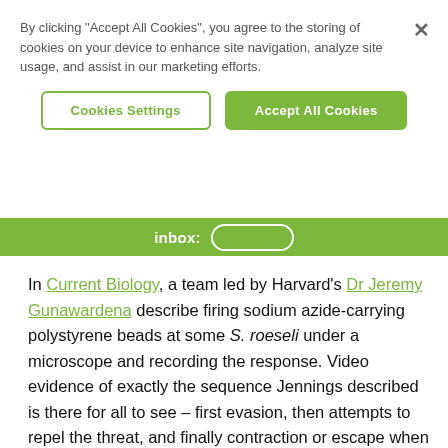By clicking “Accept All Cookies”, you agree to the storing of cookies on your device to enhance site navigation, analyze site usage, and assist in our marketing efforts.
Cookies Settings | Accept All Cookies
inbox:
In Current Biology, a team led by Harvard’s Dr Jeremy Gunawardena describe firing sodium azide-carrying polystyrene beads at some S. roeseli under a microscope and recording the response. Video evidence of exactly the sequence Jennings described is there for all to see – first evasion, then attempts to repel the threat, and finally contraction or escape when it was clear the balls were not going away.